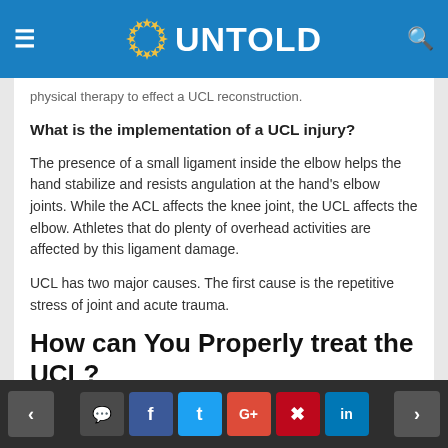UNTOLD
physical therapy to effect a UCL reconstruction.
What is the implementation of a UCL injury?
The presence of a small ligament inside the elbow helps the hand stabilize and resists angulation at the hand's elbow joints. While the ACL affects the knee joint, the UCL affects the elbow. Athletes that do plenty of overhead activities are affected by this ligament damage.
UCL has two major causes. The first cause is the repetitive stress of joint and acute trauma.
How can You Properly treat the UCL?
< [comment] f t G+ p in >